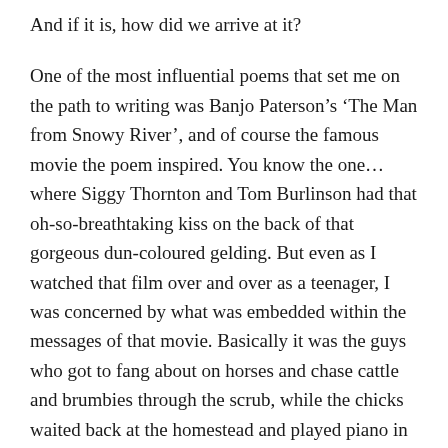And if it is, how did we arrive at it?
One of the most influential poems that set me on the path to writing was Banjo Paterson’s ‘The Man from Snowy River’, and of course the famous movie the poem inspired. You know the one… where Siggy Thornton and Tom Burlinson had that oh-so-breathtaking kiss on the back of that gorgeous dun-coloured gelding. But even as I watched that film over and over as a teenager, I was concerned by what was embedded within the messages of that movie. Basically it was the guys who got to fang about on horses and chase cattle and brumbies through the scrub, while the chicks waited back at the homestead and played piano in frilly dresses. When the character of Jessica did ven­ture out into the wilds of the mountains,